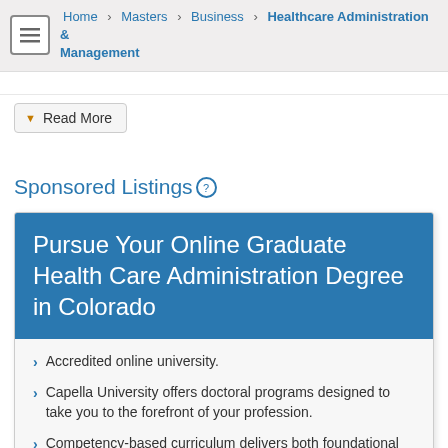Home > Masters > Business > Healthcare Administration & Management
Read More
Sponsored Listings
Pursue Your Online Graduate Health Care Administration Degree in Colorado
Accredited online university.
Capella University offers doctoral programs designed to take you to the forefront of your profession.
Competency-based curriculum delivers both foundational knowledge and real-world skills, so that